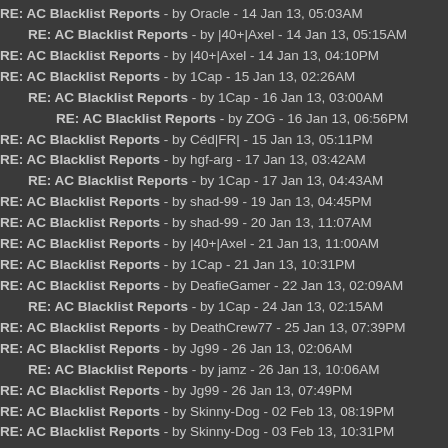RE: AC Blacklist Reports - by Oracle - 14 Jan 13, 05:03AM
RE: AC Blacklist Reports - by |40+|Axel - 14 Jan 13, 05:15AM
RE: AC Blacklist Reports - by |40+|Axel - 14 Jan 13, 04:10PM
RE: AC Blacklist Reports - by 1Cap - 15 Jan 13, 02:26AM
RE: AC Blacklist Reports - by 1Cap - 16 Jan 13, 03:00AM
RE: AC Blacklist Reports - by ZOG - 16 Jan 13, 06:56PM
RE: AC Blacklist Reports - by Céd|FR| - 15 Jan 13, 05:11PM
RE: AC Blacklist Reports - by hgf-arg - 17 Jan 13, 03:42AM
RE: AC Blacklist Reports - by 1Cap - 17 Jan 13, 04:43AM
RE: AC Blacklist Reports - by shad-99 - 19 Jan 13, 04:45PM
RE: AC Blacklist Reports - by shad-99 - 20 Jan 13, 11:07AM
RE: AC Blacklist Reports - by |40+|Axel - 21 Jan 13, 11:00AM
RE: AC Blacklist Reports - by 1Cap - 21 Jan 13, 10:31PM
RE: AC Blacklist Reports - by DeafieGamer - 22 Jan 13, 02:09AM
RE: AC Blacklist Reports - by 1Cap - 24 Jan 13, 02:15AM
RE: AC Blacklist Reports - by DeathCrew77 - 25 Jan 13, 07:39PM
RE: AC Blacklist Reports - by Jg99 - 26 Jan 13, 02:06AM
RE: AC Blacklist Reports - by jamz - 26 Jan 13, 10:06AM
RE: AC Blacklist Reports - by Jg99 - 26 Jan 13, 07:49PM
RE: AC Blacklist Reports - by Skinny-Dog - 02 Feb 13, 08:19PM
RE: AC Blacklist Reports - by Skinny-Dog - 03 Feb 13, 10:31PM
RE: AC Blacklist Reports - by Edward - 03 Feb 13, 11:15PM
RE: AC Blacklist Reports - by .45|Alea - 04 Feb 13, 02:33PM
RE: AC Blacklist Reports - by Edward - 04 Feb 13, 03:09PM
RE: AC Blacklist Reports - by .45|Alea - 07 Feb 13, 01:51PM